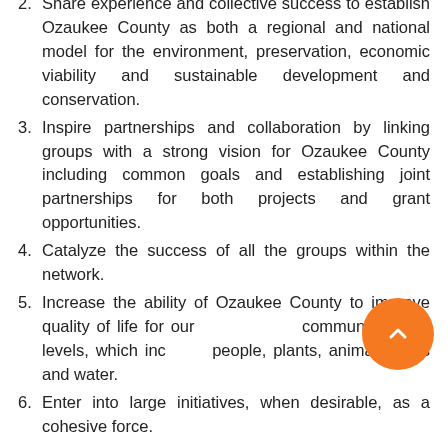2. Share experience and collective success to establish Ozaukee County as both a regional and national model for the environment, preservation, economic viability and sustainable development and conservation.
3. Inspire partnerships and collaboration by linking groups with a strong vision for Ozaukee County including common goals and establishing joint partnerships for both projects and grant opportunities.
4. Catalyze the success of all the groups within the network.
5. Increase the ability of Ozaukee County to improve quality of life for our community on all levels, which includes people, plants, animals, soils and water.
6. Enter into large initiatives, when desirable, as a cohesive force.